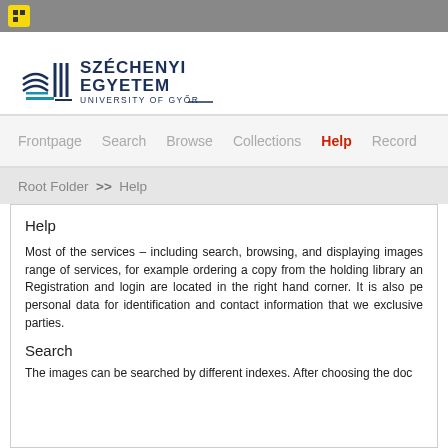[Figure (logo): Széchenyi Egyetem – University of Győr logo with stylized lines graphic and bold sans-serif text]
Frontpage  Search  Browse  Collections  Help  Record
Root Folder >> Help
Help
Most of the services – including search, browsing, and displaying images range of services, for example ordering a copy from the holding library an Registration and login are located in the right hand corner. It is also pe personal data for identification and contact information that we exclusive parties.
Search
The images can be searched by different indexes. After choosing the doc